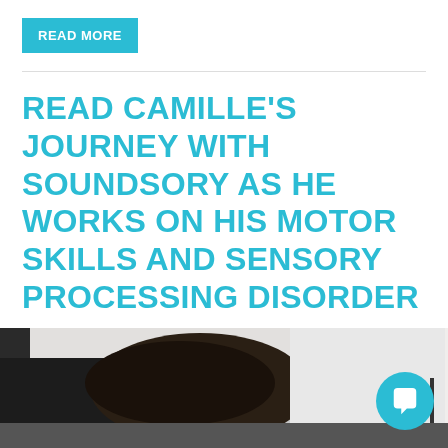READ MORE
READ CAMILLE'S JOURNEY WITH SOUNDSORY AS HE WORKS ON HIS MOTOR SKILLS AND SENSORY PROCESSING DISORDER
[Figure (photo): A person with dark hair leaning forward over a desk or table, with dark furniture and a white wall visible in the background. A chat bubble icon is overlaid in the bottom-right corner.]